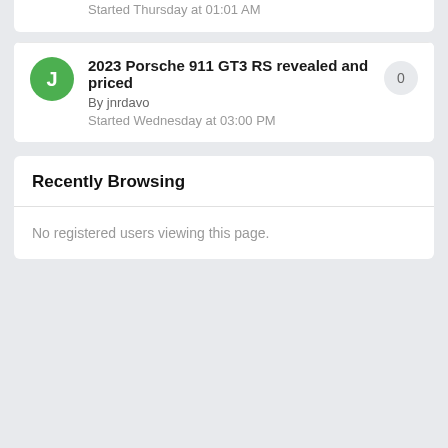Started Thursday at 01:01 AM
2023 Porsche 911 GT3 RS revealed and priced
By jnrdavo
Started Wednesday at 03:00 PM
Recently Browsing
No registered users viewing this page.